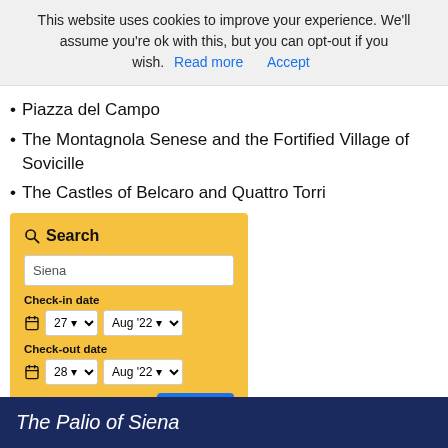This website uses cookies to improve your experience. We'll assume you're ok with this, but you can opt-out if you wish. Read more  Accept
Piazza del Campo
The Montagnola Senese and the Fortified Village of Sovicille
The Castles of Belcaro and Quattro Torri
[Figure (screenshot): Booking.com search widget with golden background. Fields: location (Siena), check-in date (27 Aug '22), check-out date (28 Aug '22), and a Search button.]
The Palio of Siena